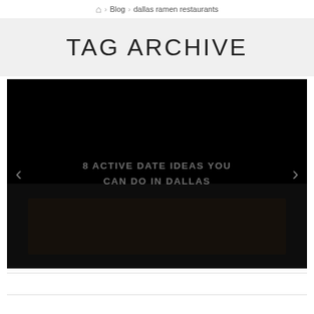🏠 › Blog › dallas ramen restaurants
TAG ARCHIVE
[Figure (photo): Dark/black slideshow image with faint overlay text reading '8 ACTIVE DATE IDEAS YOU CAN DO IN DALLAS', with left and right navigation arrows on either side]